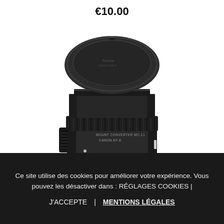€10.00
[Figure (photo): Black camera lens mount converter (MOUNT CONVERTER, CANON EF-E) photographed from top-front angle on white background, showing circular top cap with ribbed barrel body]
Ce site utilise des cookies pour améliorer votre expérience. Vous pouvez les désactiver dans : RÉGLAGES COOKIES |
J'ACCEPTE | MENTIONS LÉGALES